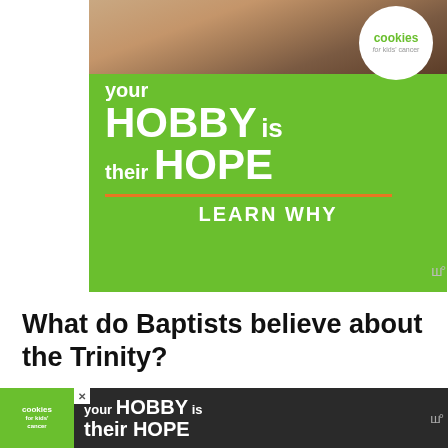[Figure (advertisement): Cookies for Kids' Cancer advertisement showing hands holding a heart-shaped cookie on green background with text 'your HOBBY is their HOPE — LEARN WHY']
What do Baptists believe about the Trinity?
Christians have always believed that God is simultaneously one and three. Baptist denominations
[Figure (advertisement): Bottom banner ad — Cookies for Kids' Cancer with 'your HOBBY is their HOPE' on dark background]